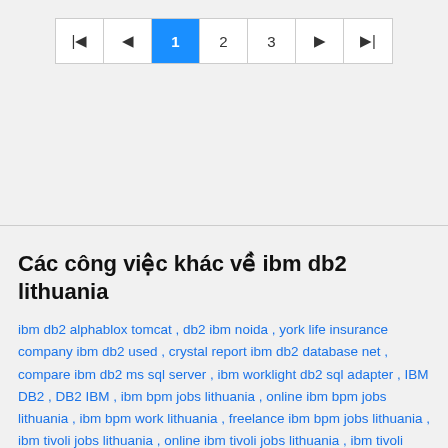[Figure (other): Pagination control bar with first, previous, page 1 (active/highlighted blue), page 2, page 3, next, and last buttons]
Các công việc khác về ibm db2 lithuania
ibm db2 alphablox tomcat , db2 ibm noida , york life insurance company ibm db2 used , crystal report ibm db2 database net , compare ibm db2 ms sql server , ibm worklight db2 sql adapter , IBM DB2 , DB2 IBM , ibm bpm jobs lithuania , online ibm bpm jobs lithuania , ibm bpm work lithuania , freelance ibm bpm jobs lithuania , ibm tivoli jobs lithuania , online ibm tivoli jobs lithuania , ibm tivoli work lithuania , freelance ibm tivoli jobs lithuania , ibm websphere transformation tool jobs lithuania , online ibm websphere transformation tool jobs